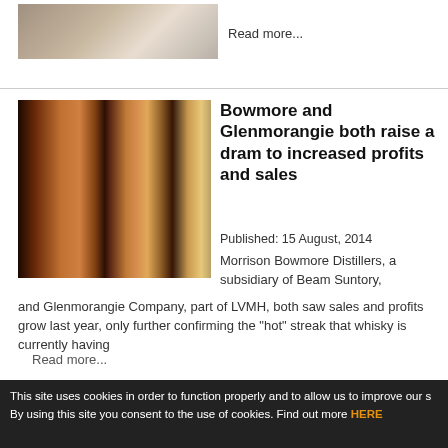[Figure (photo): Photo of a dining table setting, partially visible at the top of the page]
Read more...
[Figure (photo): Photo of multiple Glenmorangie and Bowmore whisky bottles arranged together]
Bowmore and Glenmorangie both raise a dram to increased profits and sales
Published:  15 August, 2014
Morrison Bowmore Distillers, a subsidiary of Beam Suntory, and Glenmorangie Company, part of LVMH, both saw sales and profits grow last year, only further confirming the "hot" streak that whisky is currently having
Read more...
[Figure (photo): Partially visible photo at bottom of page, appears to be a grey/metallic subject]
EU and US sanctions
This site uses cookies in order to function properly and to allow us to improve our s By using this site you consent to the use of cookies. Find out more HERE